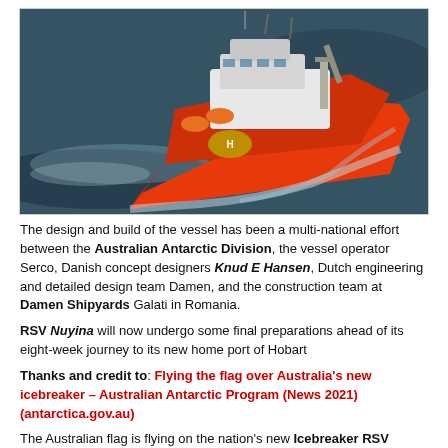[Figure (photo): Aerial photograph of RSV Nuyina, a large orange and white icebreaker research vessel, sailing on dark open water, viewed from above and slightly to the side.]
The design and build of the vessel has been a multi-national effort between the Australian Antarctic Division, the vessel operator Serco, Danish concept designers Knud E Hansen, Dutch engineering and detailed design team Damen, and the construction team at Damen Shipyards Galati in Romania.
RSV Nuyina will now undergo some final preparations ahead of its eight-week journey to its new home port of Hobart
Thanks and credit to: Flying the flag over Australia's new icebreaker – Australian Antarctic Program (News 2021) (antarctica.gov.au)
The Australian flag is flying on the nation's new Icebreaker RSV Nuyina for the first time after a ceremony in the Netherlands.